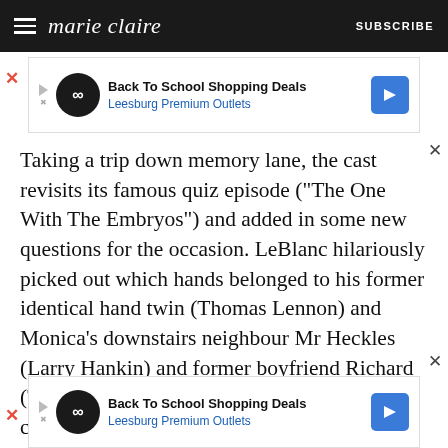marie claire  SUBSCRIBE
[Figure (screenshot): Advertisement banner: Back To School Shopping Deals - Leesburg Premium Outlets]
Taking a trip down memory lane, the cast revisits its famous quiz episode ("The One With The Embryos") and added in some new questions for the occasion. LeBlanc hilariously picked out which hands belonged to his former identical hand twin (Thomas Lennon) and Monica's downstairs neighbour Mr Heckles (Larry Hankin) and former boyfriend Richard (Tom Selleck) all made appearances, with the cast needing to identify their voices. And after all these years, we learn that not one member of the cast, including Perry, ever knew what Chandler's actual job was.
[Figure (screenshot): Advertisement banner: Back To School Shopping Deals - Leesburg Premium Outlets]